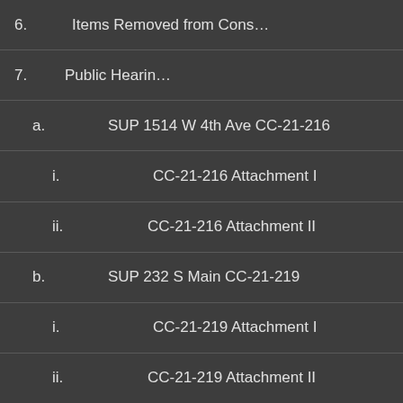6.   Items Removed from Cons…
7.   Public Hearin…
a.   SUP 1514 W 4th Ave CC-21-216
i.   CC-21-216 Attachment I
ii.  CC-21-216 Attachment II
b.   SUP 232 S Main CC-21-219
i.   CC-21-219 Attachment I
ii.  CC-21-219 Attachment II